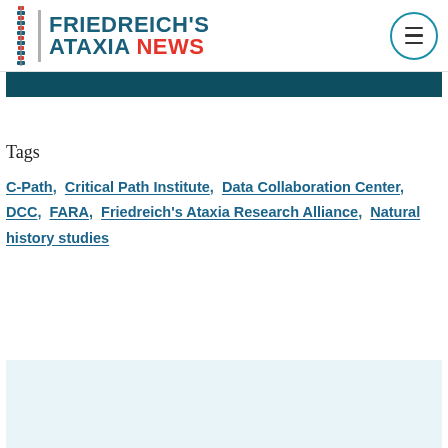FRIEDREICH'S ATAXIA NEWS
[Figure (other): Dark teal banner image strip]
Tags
C-Path, Critical Path Institute, Data Collaboration Center, DCC, FARA, Friedreich's Ataxia Research Alliance, Natural history studies
[Figure (other): Light blue background section at bottom of page]